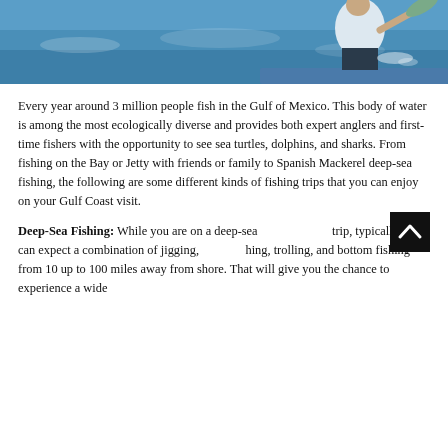[Figure (photo): Person on a boat holding a fish over blue ocean water, Gulf of Mexico fishing scene]
Every year around 3 million people fish in the Gulf of Mexico. This body of water is among the most ecologically diverse and provides both expert anglers and first-time fishers with the opportunity to see sea turtles, dolphins, and sharks. From fishing on the Bay or Jetty with friends or family to Spanish Mackerel deep-sea fishing, the following are some different kinds of fishing trips that you can enjoy on your Gulf Coast visit.
Deep-Sea Fishing: While you are on a deep-sea fishing trip, typically you can expect a combination of jigging, [fishing], trolling, and bottom fishing from 10 up to 100 miles away from shore. That will give you the chance to experience a wide